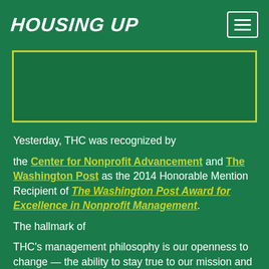HOUSING UP
[Figure (other): Green rectangular image placeholder with yellow-green border]
Yesterday, THC was recognized by the Center for Nonprofit Advancement and The Washington Post as the 2014 Honorable Mention Recipient of The Washington Post Award for Excellence in Nonprofit Management.
The hallmark of
THC's management philosophy is our openness to change — the ability to stay true to our mission and